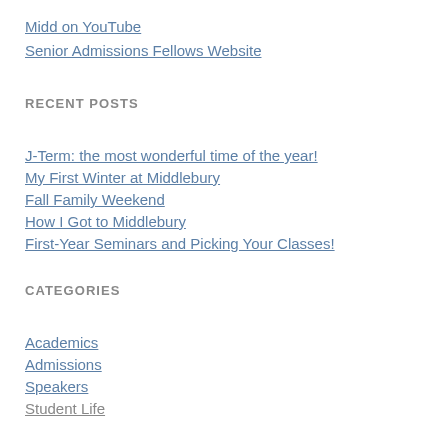Midd on YouTube
Senior Admissions Fellows Website
RECENT POSTS
J-Term: the most wonderful time of the year!
My First Winter at Middlebury
Fall Family Weekend
How I Got to Middlebury
First-Year Seminars and Picking Your Classes!
CATEGORIES
Academics
Admissions
Speakers
Student Life